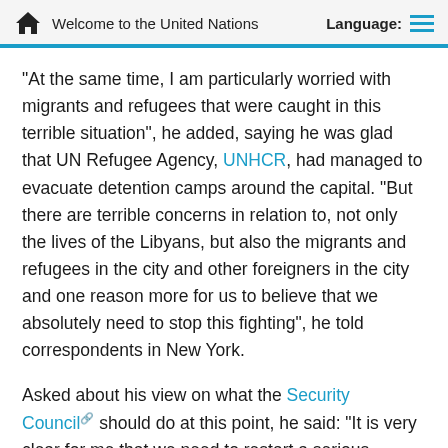Welcome to the United Nations | Language:
“At the same time, I am particularly worried with migrants and refugees that were caught in this terrible situation”, he added, saying he was glad that UN Refugee Agency, UNHCR, had managed to evacuate detention camps around the capital. “But there are terrible concerns in relation to, not only the lives of the Libyans, but also the migrants and refugees in the city and other foreigners in the city and one reason more for us to believe that we absolutely need to stop this fighting”, he told correspondents in New York.
Asked about his view on what the Security Council should do at this point, he said: “It is very clear for me that we need to restart a serious political dialogue and a serious political negotiation, but it is obvious that that cannot take place without fully stopping hostilities.”